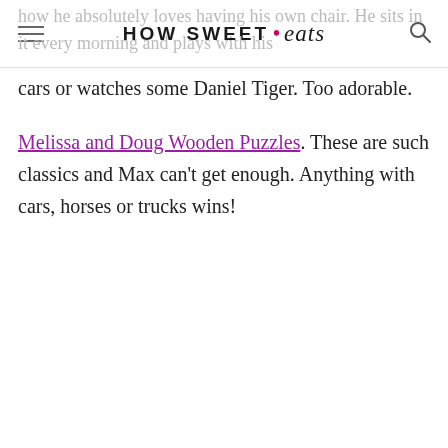HOW SWEET • eats
how he absolutely loves having his own chair. He sits in it every morning and plays with his cars or watches some Daniel Tiger. Too adorable.
Melissa and Doug Wooden Puzzles. These are such classics and Max can't get enough. Anything with cars, horses or trucks wins!